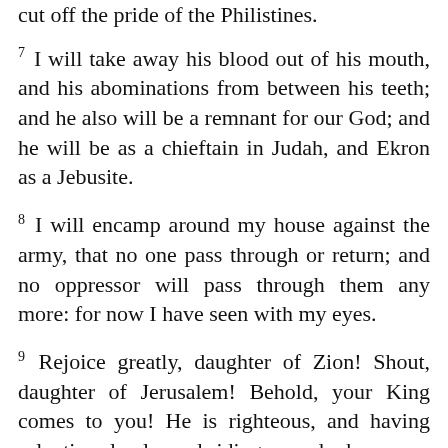cut off the pride of the Philistines.
7 I will take away his blood out of his mouth, and his abominations from between his teeth; and he also will be a remnant for our God; and he will be as a chieftain in Judah, and Ekron as a Jebusite.
8 I will encamp around my house against the army, that no one pass through or return; and no oppressor will pass through them any more: for now I have seen with my eyes.
9 Rejoice greatly, daughter of Zion! Shout, daughter of Jerusalem! Behold, your King comes to you! He is righteous, and having salvation; lowly, and riding on a donkey, even on a colt, the foal of a donkey.